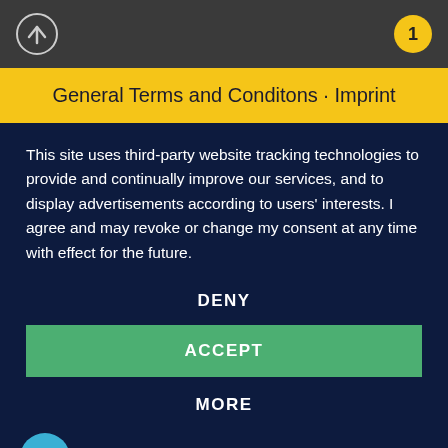↑  1
General Terms and Conditons · Imprint
This site uses third-party website tracking technologies to provide and continually improve our services, and to display advertisements according to users' interests. I agree and may revoke or change my consent at any time with effect for the future.
DENY
ACCEPT
MORE
Powered by usercentrics